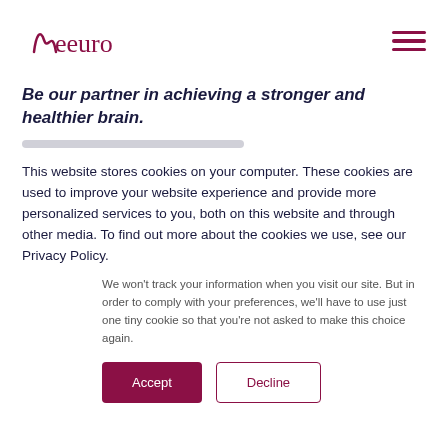Neeuro
Be our partner in achieving a stronger and healthier brain.
This website stores cookies on your computer. These cookies are used to improve your website experience and provide more personalized services to you, both on this website and through other media. To find out more about the cookies we use, see our Privacy Policy.
We won't track your information when you visit our site. But in order to comply with your preferences, we'll have to use just one tiny cookie so that you're not asked to make this choice again.
Accept | Decline